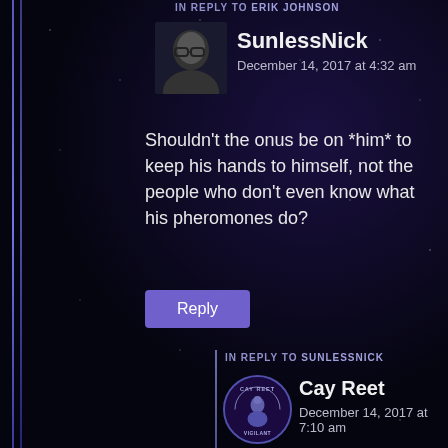IN REPLY TO ERIK JOHNSON
SunlessNick
December 14, 2017 at 4:32 am
Shouldn't the onus be on *him* to keep his hands to himself, not the people who don't even know what his pheromones do?
Reply
IN REPLY TO SUNLESSNICK
Cay Reet
December 14, 2017 at 7:10 am